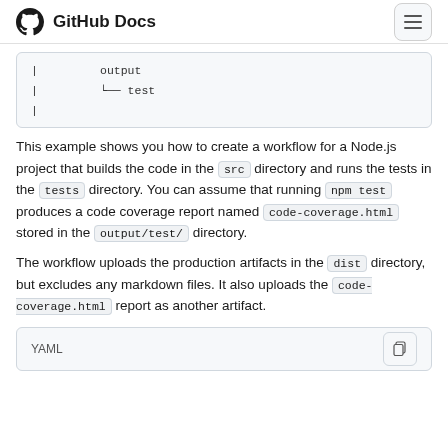GitHub Docs
[Figure (screenshot): Code block showing directory tree with 'output' and '└── test' lines]
This example shows you how to create a workflow for a Node.js project that builds the code in the src directory and runs the tests in the tests directory. You can assume that running npm test produces a code coverage report named code-coverage.html stored in the output/test/ directory.
The workflow uploads the production artifacts in the dist directory, but excludes any markdown files. It also uploads the code-coverage.html report as another artifact.
YAML